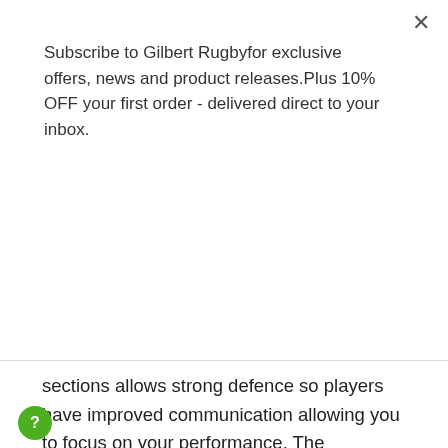Subscribe to Gilbert Rugbyfor exclusive offers, news and product releases.Plus 10% OFF your first order - delivered direct to your inbox.
Subscribe
sections allows strong defence so players have improved communication allowing you to focus on your performance. The expandable lace closure system and moulded foam configuration allows for a flexible fit to provide comfort and stability for all head shapes and sizes.
In an intense game, rugby players' body temperatures can surge and with added headwear this could be uncomfortable and inhibit their top performance. The Falcon 200 tackles with the inclusion of small holes located around the